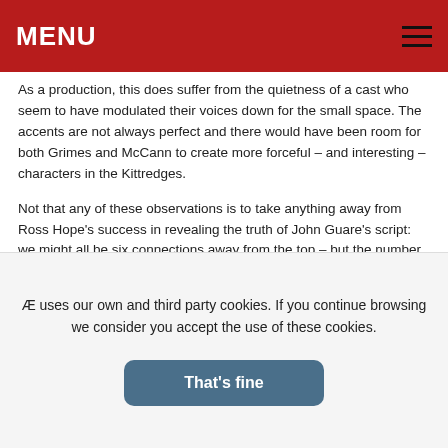MENU
As a production, this does suffer from the quietness of a cast who seem to have modulated their voices down for the small space. The accents are not always perfect and there would have been room for both Grimes and McCann to create more forceful – and interesting – characters in the Kittredges.
Not that any of these observations is to take anything away from Ross Hope’s success in revealing the truth of John Guare’s script: we might all be six connections away from the top – but the number of connections to get to the bottom is rather fewer.
Running time: 2 hours 5 minutes
Run ends Saturday 7 April 2012
Shows: daily 7.30pm;.
Grads Website: www.egtg.co.uk
ENDS
Æ uses our own and third party cookies. If you continue browsing we consider you accept the use of these cookies.